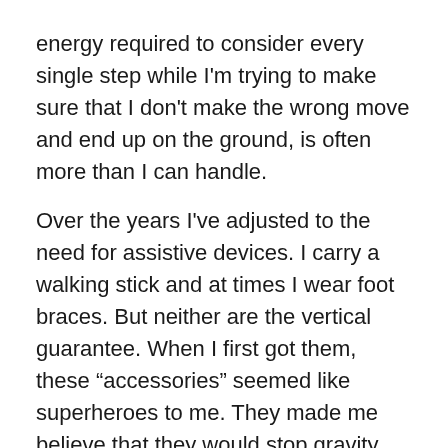energy required to consider every single step while I'm trying to make sure that I don't make the wrong move and end up on the ground, is often more than I can handle.
Over the years I've adjusted to the need for assistive devices. I carry a walking stick and at times I wear foot braces. But neither are the vertical guarantee. When I first got them, these “accessories” seemed like superheroes to me. They made me believe that they would stop gravity from its overzealous evil bidding. But it didn't take long for their kryptonite to be exposed and with it my physical and emotional weaknesses.
• • •
On Monday I went to a meeting to plan the High Holiday Family Service (B’yachad) at a Temple member’s house.